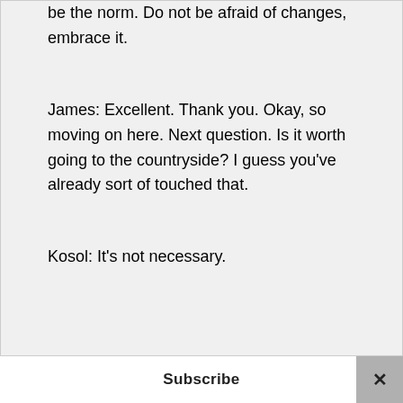be the norm. Do not be afraid of changes, embrace it.
James: Excellent. Thank you. Okay, so moving on here. Next question. Is it worth going to the countryside? I guess you've already sort of touched that.
Kosol: It's not necessary.
Subscribe ×